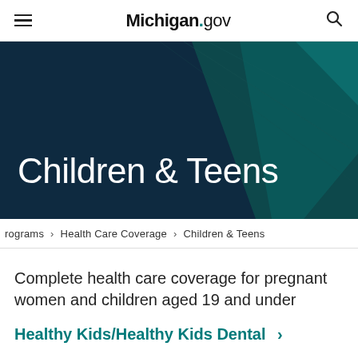Michigan.gov
Children & Teens
rograms > Health Care Coverage > Children & Teens
Complete health care coverage for pregnant women and children aged 19 and under
Healthy Kids/Healthy Kids Dental >